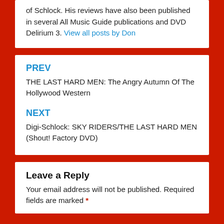of Schlock. His reviews have also been published in several All Music Guide publications and DVD Delirium 3. View all posts by Don
PREV
THE LAST HARD MEN: The Angry Autumn Of The Hollywood Western
NEXT
Digi-Schlock: SKY RIDERS/THE LAST HARD MEN (Shout! Factory DVD)
Leave a Reply
Your email address will not be published. Required fields are marked *